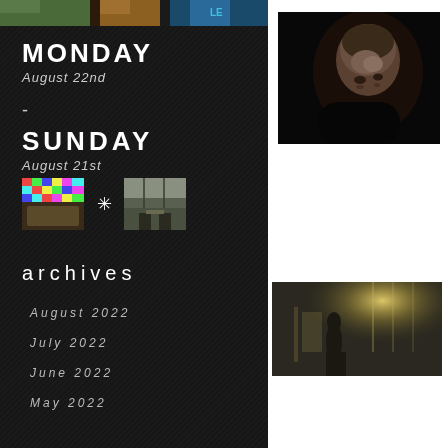[Figure (photo): Top image strip across left panel]
MONDAY
August 22nd
-
SUNDAY
August 21st
[Figure (photo): Three thumbnail images for Sunday August 21st]
archives
August 2022
July 2022
June 2022
May 2022
[Figure (photo): Portrait photo of elderly man against dark background]
[Figure (photo): Scene with figure in misty interior with light coming through windows]